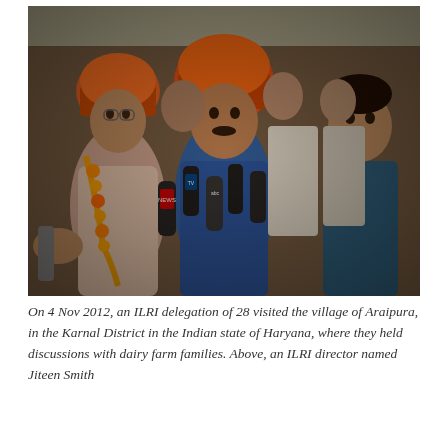[Figure (photo): A group of people being interviewed by TV journalists with microphones. Several men in the center are wearing orange turbans and flower garlands. A woman in a blue outfit on the right holds a microphone. The scene appears to be outdoors in India.]
On 4 Nov 2012, an ILRI delegation of 28 visited the village of Araipura, in the Karnal District in the Indian state of Haryana, where they held discussions with dairy farm families. Above, an ILRI director named Jiteen Smith...